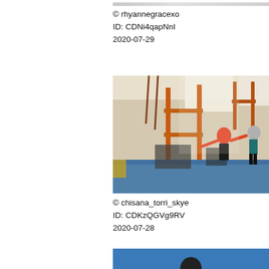[Figure (photo): Partial photo at top edge, cropped]
© rhyannegracexo
ID: CDNi4qapNnI
2020-07-29
[Figure (photo): Indoor gymnasium/training facility with orange metal shelving, blue mat floor, people exercising and stretching]
© chisana_torri_skye
ID: CDKzQGVg9RV
2020-07-28
[Figure (photo): Partial photo at bottom, blue background with person visible]